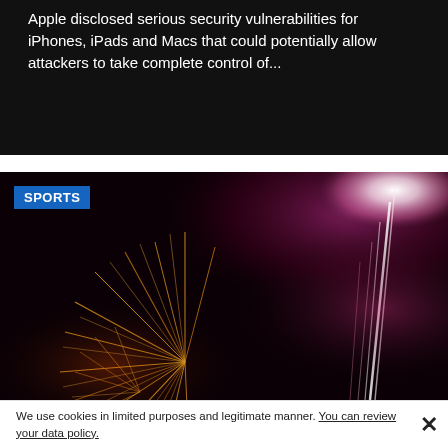Apple disclosed serious security vulnerabilities for iPhones, iPads and Macs that could potentially allow attackers to take complete control of...
[Figure (photo): Fireworks display against a dark night sky, with golden sparkling bursts on the left and bright white/pink streaks on the right, under a SPORTS category badge]
We use cookies in limited purposes and legitimate manner. You can review your data policy.